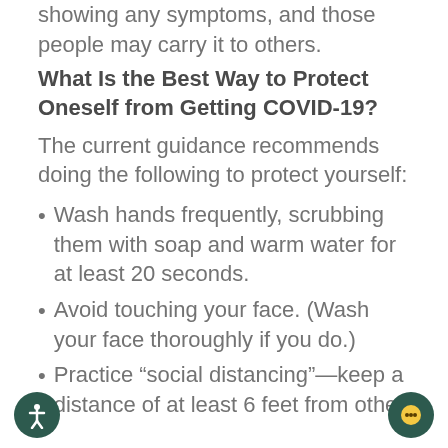showing any symptoms, and those people may carry it to others.
What Is the Best Way to Protect Oneself from Getting COVID-19?
The current guidance recommends doing the following to protect yourself:
Wash hands frequently, scrubbing them with soap and warm water for at least 20 seconds.
Avoid touching your face. (Wash your face thoroughly if you do.)
Practice “social distancing”—keep a distance of at least 6 feet from other